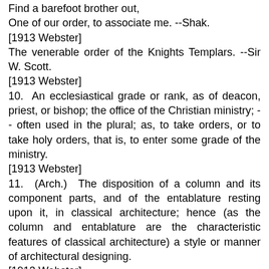Find a barefoot brother out,
One of our order, to associate me. --Shak.
[1913 Webster]
The venerable order of the Knights Templars. --Sir W. Scott.
[1913 Webster]
10. An ecclesiastical grade or rank, as of deacon, priest, or bishop; the office of the Christian ministry; -- often used in the plural; as, to take orders, or to take holy orders, that is, to enter some grade of the ministry.
[1913 Webster]
11. (Arch.) The disposition of a column and its component parts, and of the entablature resting upon it, in classical architecture; hence (as the column and entablature are the characteristic features of classical architecture) a style or manner of architectural designing.
[1913 Webster]